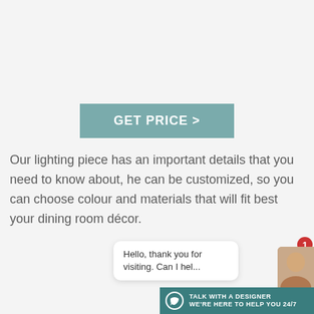[Figure (other): GET PRICE > button with teal/muted green background and white bold text]
Our lighting piece has an important details that you need to know about, he can be customized, so you can choose colour and materials that will fit best your dining room décor.
[Figure (other): Live chat widget with bubble saying 'Hello, thank you for visiting. Can I hel...' and a 'TALK WITH A DESIGNER WE'RE HERE TO HELP YOU 24/7' bar with avatar and red notification badge showing 1]